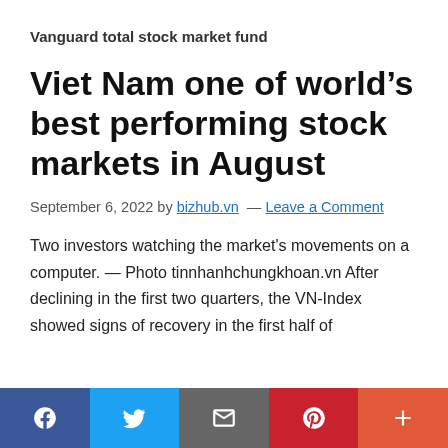Vanguard total stock market fund
Viet Nam one of world's best performing stock markets in August
September 6, 2022 by bizhub.vn — Leave a Comment
Two investors watching the market's movements on a computer. — Photo tinnhanhchungkhoan.vn After declining in the first two quarters, the VN-Index showed signs of recovery in the first half of